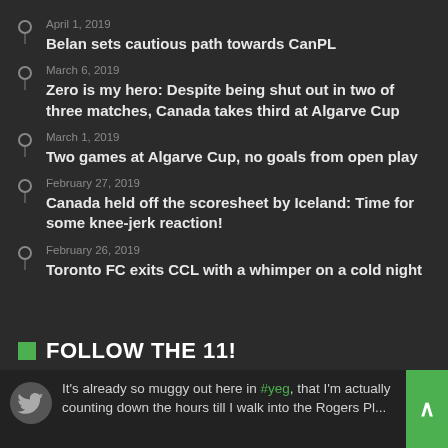April 1, 2019 — Belan sets cautious path towards CanPL
March 6, 2019 — Zero is my hero: Despite being shut out in two of three matches, Canada takes third at Algarve Cup
March 1, 2019 — Two games at Algarve Cup, no goals from open play
February 27, 2019 — Canada held off the scoresheet by Iceland: Time for some knee-jerk reaction!
February 26, 2019 — Toronto FC exits CCL with a whimper on a cold night
FOLLOW THE 11!
It's already so muggy out here in #yeg, that I'm actually counting down the hours till I walk into the Rogers Pl...